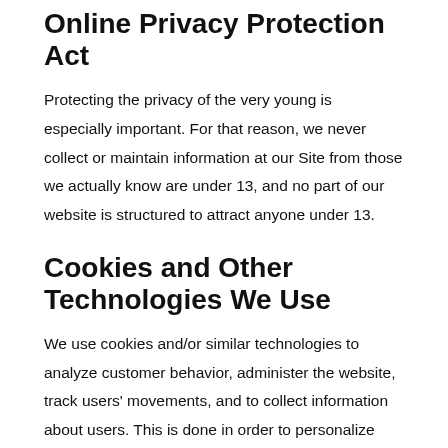Online Privacy Protection Act
Protecting the privacy of the very young is especially important. For that reason, we never collect or maintain information at our Site from those we actually know are under 13, and no part of our website is structured to attract anyone under 13.
Cookies and Other Technologies We Use
We use cookies and/or similar technologies to analyze customer behavior, administer the website, track users' movements, and to collect information about users. This is done in order to personalize and enhance your experience with us.